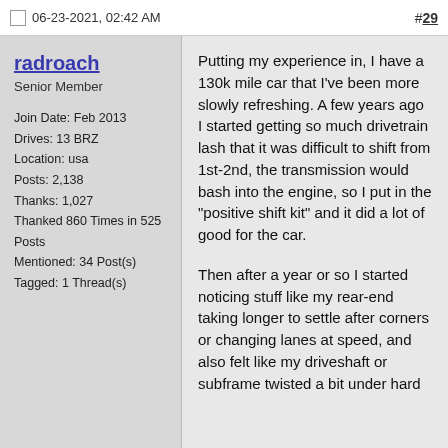06-23-2021, 02:42 AM  #29
radroach
Senior Member

Join Date: Feb 2013
Drives: 13 BRZ
Location: usa
Posts: 2,138
Thanks: 1,027
Thanked 860 Times in 525 Posts
Mentioned: 34 Post(s)
Tagged: 1 Thread(s)
Putting my experience in, I have a 130k mile car that I've been more slowly refreshing. A few years ago I started getting so much drivetrain lash that it was difficult to shift from 1st-2nd, the transmission would bash into the engine, so I put in the "positive shift kit" and it did a lot of good for the car.

Then after a year or so I started noticing stuff like my rear-end taking longer to settle after corners or changing lanes at speed, and also felt like my driveshaft or subframe twisted a bit under hard